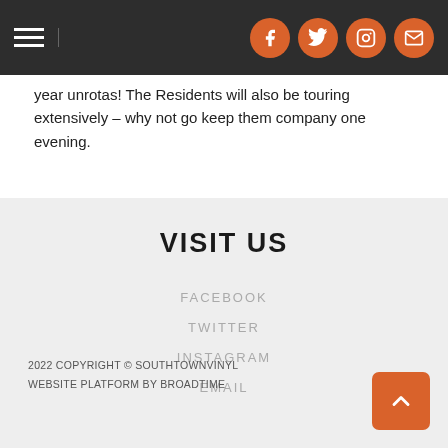[Navigation bar with hamburger menu and social icons: Facebook, Twitter, Instagram, Email]
year unrotas! The Residents will also be touring extensively – why not go keep them company one evening.
VISIT US
FACEBOOK
TWITTER
INSTAGRAM
EMAIL
2022 COPYRIGHT © SOUTHTOWNVINYL
WEBSITE PLATFORM BY BROADTIME